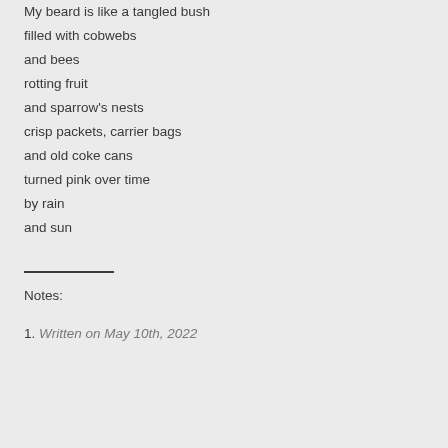My beard is like a tangled bush
filled with cobwebs
and bees
rotting fruit
and sparrow's nests
crisp packets, carrier bags
and old coke cans
turned pink over time
by rain
and sun
Notes:
1. Written on May 10th, 2022